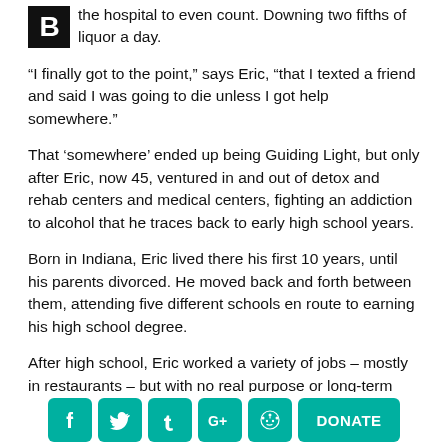the hospital to even count. Downing two fifths of liquor a day.
“I finally got to the point,” says Eric, “that I texted a friend and said I was going to die unless I got help somewhere.”
That ‘somewhere’ ended up being Guiding Light, but only after Eric, now 45, ventured in and out of detox and rehab centers and medical centers, fighting an addiction to alcohol that he traces back to early high school years.
Born in Indiana, Eric lived there his first 10 years, until his parents divorced. He moved back and forth between them, attending five different schools en route to earning his high school degree.
After high school, Eric worked a variety of jobs – mostly in restaurants – but with no real purpose or long-term
[Figure (infographic): Social media share buttons: Facebook, Twitter, Tumblr, Google+, Reddit icons in teal, and a DONATE button in teal]